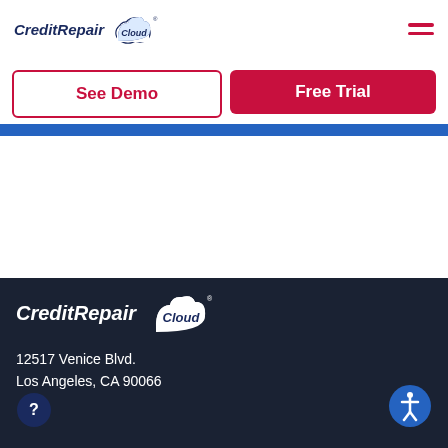CreditRepair Cloud
See Demo
Free Trial
CreditRepair Cloud
12517 Venice Blvd.
Los Angeles, CA 90066